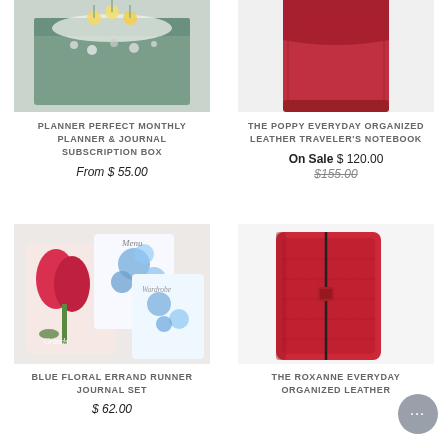[Figure (photo): Gift box containing jewelry and floral decorations with crinkle paper]
PLANNER PERFECT MONTHLY PLANNER & JOURNAL SUBSCRIPTION BOX
From $ 55.00
[Figure (photo): Red leather traveler's notebook/wallet standing upright]
THE POPPY EVERYDAY ORGANIZED LEATHER TRAVELER'S NOTEBOOK
On Sale $ 120.00
$155.00 (strikethrough original price)
[Figure (photo): Blue floral watercolor journal cards set with tulip and flower designs, cards labeled Grands, Menu, Wardrobe]
BLUE FLORAL ERRAND RUNNER JOURNAL SET
$ 62.00
[Figure (photo): Red crocodile-textured leather journal/notebook with elastic band closure]
THE ROXANNE EVERYDAY ORGANIZED LEATHER